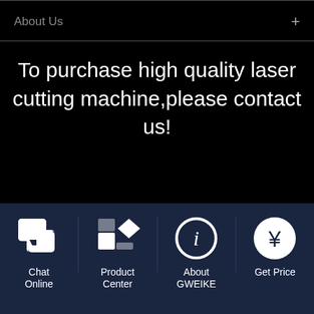About Us
To purchase high quality laser cutting machine,please contact us!
Name
Hotline
E-mail
[Figure (screenshot): Navigation bar with four items: Chat Online (chat icon), Product Center (grid+diamond icon), About GWEIKE (info circle icon), Get Price (yen symbol icon)]